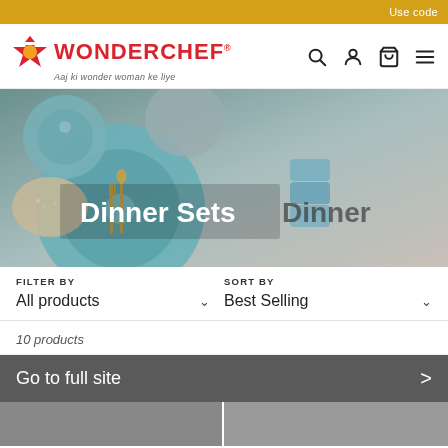Use code
[Figure (logo): Wonderchef logo with star icon and tagline 'Aaj ki wonder woman ke liye']
[Figure (photo): Hero banner showing dinner sets with teal/blue ceramic dishes, plates, and cutlery on a neutral background with text 'Dinner Sets Dinner']
FILTER BY
All products
SORT BY
Best Selling
10 products
Go to full site